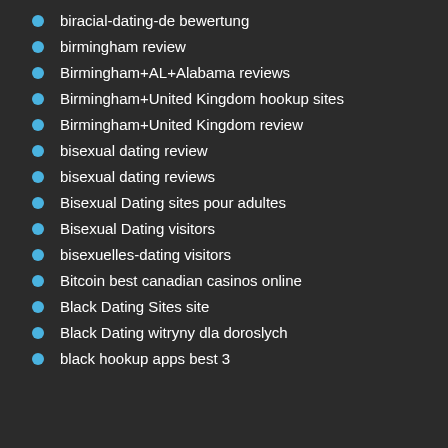biracial-dating-de bewertung
birmingham review
Birmingham+AL+Alabama reviews
Birmingham+United Kingdom hookup sites
Birmingham+United Kingdom review
bisexual dating review
bisexual dating reviews
Bisexual Dating sites pour adultes
Bisexual Dating visitors
bisexuelles-dating visitors
Bitcoin best canadian casinos online
Black Dating Sites site
Black Dating witryny dla doroslych
black hookup apps best 3